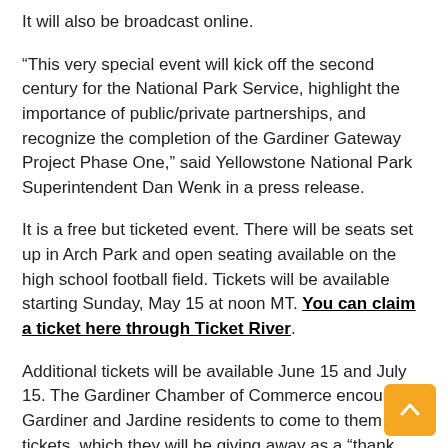It will also be broadcast online.
“This very special event will kick off the second century for the National Park Service, highlight the importance of public/private partnerships, and recognize the completion of the Gardiner Gateway Project Phase One,” said Yellowstone National Park Superintendent Dan Wenk in a press release.
It is a free but ticketed event. There will be seats set up in Arch Park and open seating available on the high school football field. Tickets will be available starting Sunday, May 15 at noon MT. You can claim a ticket here through Ticket River.
Additional tickets will be available June 15 and July 15. The Gardiner Chamber of Commerce encourages Gardiner and Jardine residents to come to them for tickets, which they will be giving away as a “thank you” for “putting up” with the Gardiner Gateway Project.
Event organizers suggest people arrange lodging accommodations before acquiring tickets, as area accommodations in and out of Yellowstone National Park are limited.